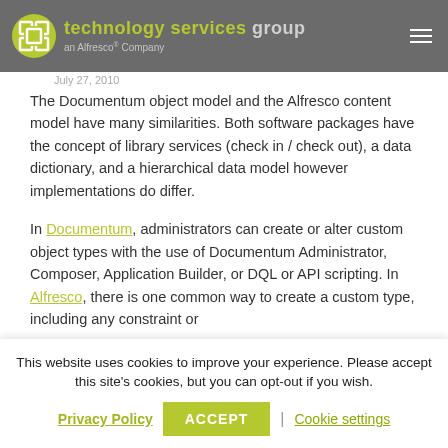technology services group an Alfresco® Company
July 27, 2010
The Documentum object model and the Alfresco content model have many similarities. Both software packages have the concept of library services (check in / check out), a data dictionary, and a hierarchical data model however implementations do differ.
In Documentum, administrators can create or alter custom object types with the use of Documentum Administrator, Composer, Application Builder, or DQL or API scripting. In Alfresco, there is one common way to create a custom type, including any constraint or
This website uses cookies to improve your experience. Please accept this site's cookies, but you can opt-out if you wish.
Privacy Policy | ACCEPT | Cookie settings